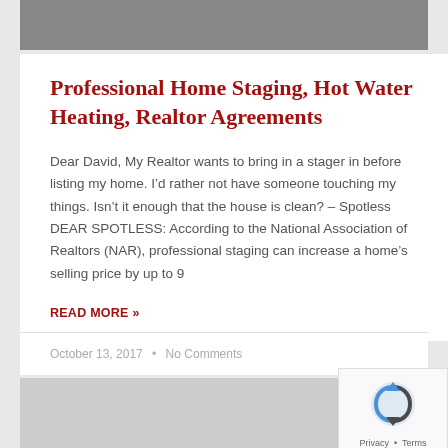[Figure (photo): Top portion of a photo, appears to be a home interior or exterior, shown in grayscale]
Professional Home Staging, Hot Water Heating, Realtor Agreements
Dear David, My Realtor wants to bring in a stager in before listing my home. I’d rather not have someone touching my things. Isn’t it enough that the house is clean? – Spotless DEAR SPOTLESS: According to the National Association of Realtors (NAR), professional staging can increase a home’s selling price by up to 9
READ MORE »
October 13, 2017  •  No Comments
[Figure (photo): Bottom portion showing what appears to be a home interior in grayscale, with ASK DAVID label]